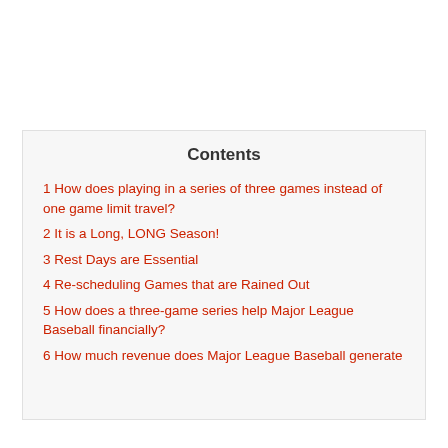Contents
1 How does playing in a series of three games instead of one game limit travel?
2 It is a Long, LONG Season!
3 Rest Days are Essential
4 Re-scheduling Games that are Rained Out
5 How does a three-game series help Major League Baseball financially?
6 How much revenue does Major League Baseball generate